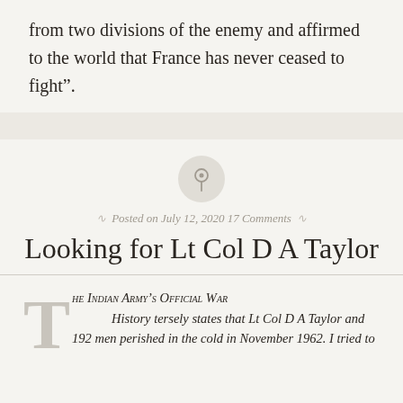from two divisions of the enemy and affirmed to the world that France has never ceased to fight”.
Posted on July 12, 2020 17 Comments
Looking for Lt Col D A Taylor
THE INDIAN ARMY’S OFFICIAL WAR History tersely states that Lt Col D A Taylor and 192 men perished in the cold in November 1962. I tried to